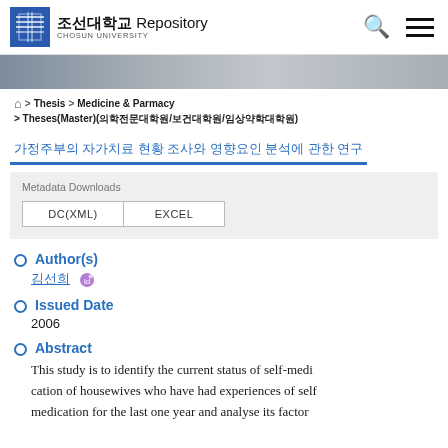[Figure (logo): Chosun University Repository logo with Korean text 조선대학교 and word Repository]
조선대학교 Repository
[Figure (photo): Gray banner image of university building]
🏠 > Thesis > Medicine & Parmacy > Theses(Master)(의학전문대학원/보건대학원/임상약학대학원)
가정주부의 자가치료 현황 조사와 영향요인 분석에 관한 연구
Metadata Downloads
DC(XML)   EXCEL
Author(s)
김선희
Issued Date
2006
Abstract
This study is to identify the current status of self-medication of housewives who have had experiences of self medication for the last one year and analyse its factor